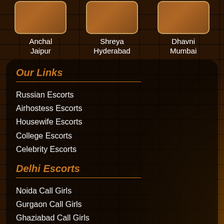[Figure (photo): Profile thumbnail photo of Anchal from Jaipur]
Anchal
Jaipur
[Figure (photo): Profile thumbnail photo of Shreya from Hyderabad]
Shreya
Hyderabad
[Figure (photo): Profile thumbnail photo of Dhavni from Mumbai]
Dhavni
Mumbai
Our Links
Russian Escorts
Airhostess Escorts
Housewife Escorts
College Escorts
Celebrity Escorts
Delhi Escorts
Noida Call Girls
Gurgaon Call Girls
Ghaziabad Call Girls
Faridabad Call Girls
Greater Noida Call Girls
Model Town Call Girls
Ashok Vihar Call Girls